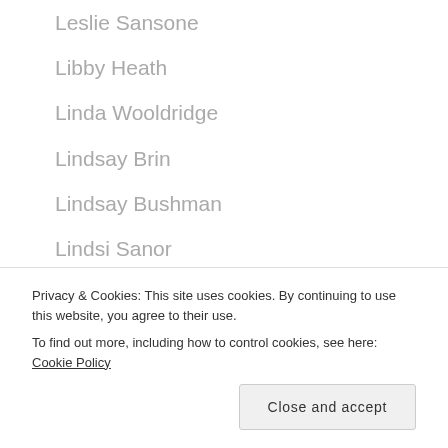Leslie Sansone
Libby Heath
Linda Wooldridge
Lindsay Brin
Lindsay Bushman
Lindsi Sanor
Lisa Kay
Mai-Britt Catrine
Mark Lauren
Mia Tode
Privacy & Cookies: This site uses cookies. By continuing to use this website, you agree to their use.
To find out more, including how to control cookies, see here: Cookie Policy
Close and accept